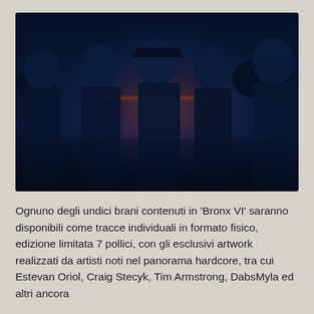[Figure (photo): Five men posing together in a dark blue-toned outdoor photo at sunset, with an orange/red horizon behind them. They appear to be a music band.]
Ognuno degli undici brani contenuti in 'Bronx VI' saranno disponibili come tracce individuali in formato fisico, edizione limitata 7 pollici, con gli esclusivi artwork realizzati da artisti noti nel panorama hardcore, tra cui Estevan Oriol, Craig Stecyk, Tim Armstrong, DabsMyla ed altri ancora